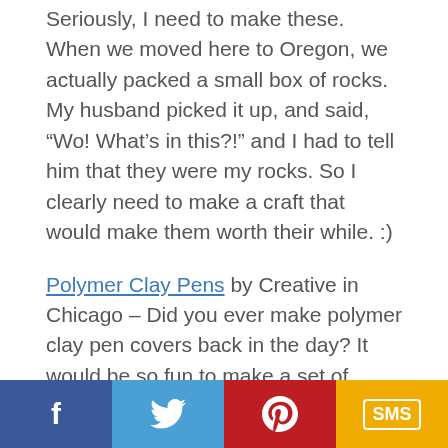Seriously, I need to make these. When we moved here to Oregon, we actually packed a small box of rocks. My husband picked it up, and said, “Wo! What’s in this?!” and I had to tell him that they were my rocks. So I clearly need to make a craft that would make them worth their while. :)
Polymer Clay Pens by Creative in Chicago – Did you ever make polymer clay pen covers back in the day? It would be so fun to make a set of these for school in the fall.
Branch Weaving by ArtBar – Weaving is everywhere right now. The ArtBar blog shows how you can make your own weaving to hang on a wall with minimal supplies. I love that she uses a branch as the base! :)
[Figure (infographic): Social share buttons: Facebook (blue), Twitter (light blue), Pinterest (red), SMS (yellow)]